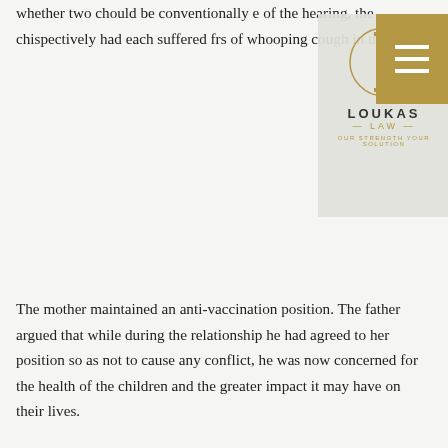whether two ch[ildren] [sh]ould be conventionally [vaccinated. At th]e of the hearing, the chi[ldren were re]spectively had each suffered fr[om two episode]s of whooping cough in the pa[st].
[Figure (logo): Loukas Law logo — circular emblem with vertical bar, text LOUKAS LAW with tagline OUR STRENGTH YOUR SOLUTION in gold]
The mother maintained an anti-vaccination position. The father argued that while during the relationship he had agreed to her position so as not to cause any conflict, he was now concerned for the health of the children and the greater impact it may have on their lives.
A Senior Consultant Physician in Immunology and Allergy was appointed to provide expert evidence to address whether there was any medical reason for the children not to be vaccinated. The medical expert found there was not, and recommended that the children have their immunisations brought up to date.